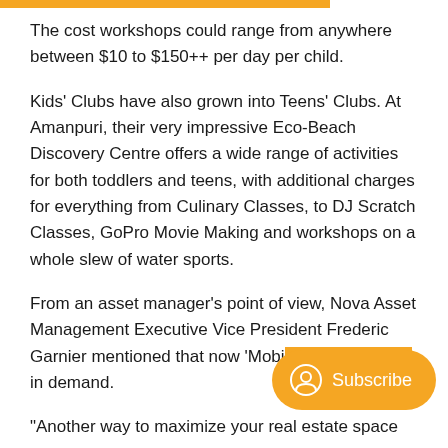The cost workshops could range from anywhere between $10 to $150++ per day per child.
Kids' Clubs have also grown into Teens' Clubs. At Amanpuri, their very impressive Eco-Beach Discovery Centre offers a wide range of activities for both toddlers and teens, with additional charges for everything from Culinary Classes, to DJ Scratch Classes, GoPro Movie Making and workshops on a whole slew of water sports.
From an asset manager's point of view, Nova Asset Management Executive Vice President Frederic Garnier mentioned that now 'Mobi… in demand.
"Another way to maximize your real estate space